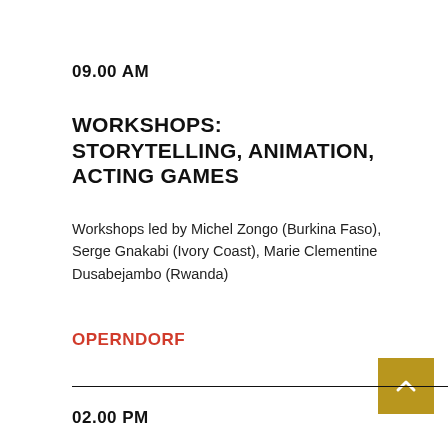09.00 AM
WORKSHOPS: STORYTELLING, ANIMATION, ACTING GAMES
Workshops led by Michel Zongo (Burkina Faso), Serge Gnakabi (Ivory Coast), Marie Clementine Dusabejambo (Rwanda)
OPERNDORF
02.00 PM